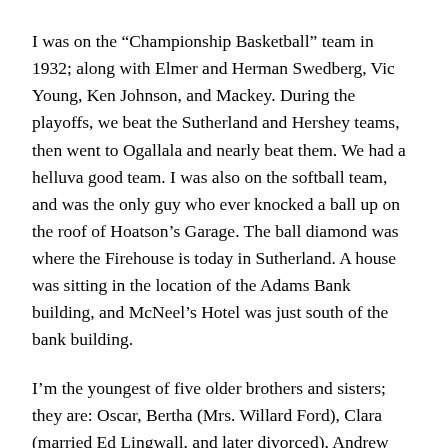I was on the “Championship Basketball” team in 1932; along with Elmer and Herman Swedberg, Vic Young, Ken Johnson, and Mackey. During the playoffs, we beat the Sutherland and Hershey teams, then went to Ogallala and nearly beat them. We had a helluva good team. I was also on the softball team, and was the only guy who ever knocked a ball up on the roof of Hoatson’s Garage. The ball diamond was where the Firehouse is today in Sutherland. A house was sitting in the location of the Adams Bank building, and McNeel’s Hotel was just south of the bank building.
I’m the youngest of five older brothers and sisters; they are: Oscar, Bertha (Mrs. Willard Ford), Clara (married Ed Lingwall, and later divorced), Andrew who married Bess Carvett, and later divorced, Etta (Mrs. Bernard Crews), and I married Lila F. Forshey, daughter of Alexander and Mary (Rose) Forshey on October 2, 1937. We ran off to